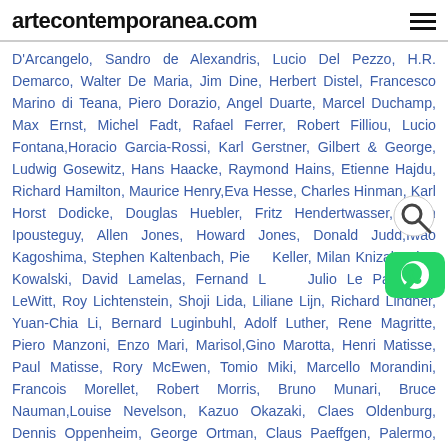artecontemporanea.com
D'Arcangelo, Sandro de Alexandris, Lucio Del Pezzo, H.R. Demarco, Walter De Maria, Jim Dine, Herbert Distel, Francesco Marino di Teana, Piero Dorazio, Angel Duarte, Marcel Duchamp, Max Ernst, Michel Fadt, Rafael Ferrer, Robert Filliou, Lucio Fontana,Horacio Garcia-Rossi, Karl Gerstner, Gilbert & George, Ludwig Gosewitz, Hans Haacke, Raymond Hains, Etienne Hajdu, Richard Hamilton, Maurice Henry,Eva Hesse, Charles Hinman, Karl Horst Dodicke, Douglas Huebler, Fritz Hendertwasser, Jean Ipousteguy, Allen Jones, Howard Jones, Donald Judd,Iwao Kagoshima, Stephen Kaltenbach, Piero Keller, Milan Knizak, Piotr Kowalski, David Lamelas, Fernand Léger, Julio Le Parc, Sol LeWitt, Roy Lichtenstein, Shoji Lida, Liliane Lijn, Richard Lindner, Yuan-Chia Li, Bernard Luginbuhl, Adolf Luther, Rene Magritte, Piero Manzoni, Enzo Mari, Marisol,Gino Marotta, Henri Matisse, Paul Matisse, Rory McEwen, Tomio Miki, Marcello Morandini, Francois Morellet, Robert Morris, Bruno Munari, Bruce Nauman,Louise Nevelson, Kazuo Okazaki, Claes Oldenburg, Dennis Oppenheim, George Ortman, Claus Paeffgen, Palermo, Pavlos, Henry Pearson, David Pelham, Alicia Penalba, Michelangelo Pistoletto, Sigmar Polke, Arnaldo Pomodoro, Gio Pomodoro, William Pye, Edival Ramosa, Robert Rauschenberg, May Ray, Martial Raysse, Paul Reich,